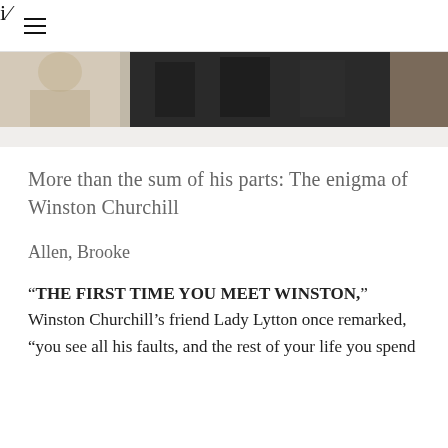iA
[Figure (photo): Partial photo strip showing black and white or sepia-toned photographs of people, cropped at the top of the content area]
More than the sum of his parts: The enigma of Winston Churchill
Allen, Brooke
“THE FIRST TIME YOU MEET WINSTON,” Winston Churchill’s friend Lady Lytton once remarked, “you see all his faults, and the rest of your life you spend